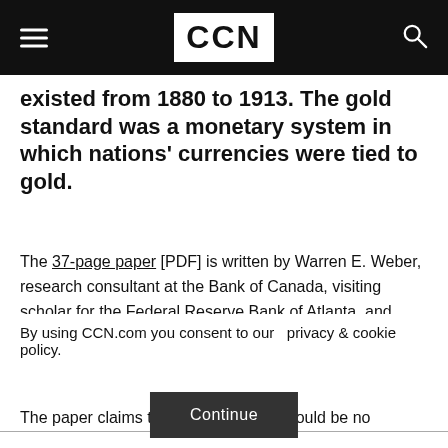CCN
existed from 1880 to 1913. The gold standard was a monetary system in which nations' currencies were tied to gold.
The 37-page paper [PDF] is written by Warren E. Weber, research consultant at the Bank of Canada, visiting scholar for the Federal Reserve Bank of Atlanta, and adjunct professor at the University of South Carolina.
The paper claims that because there would be no
By using CCN.com you consent to our privacy & cookie policy.
Continue